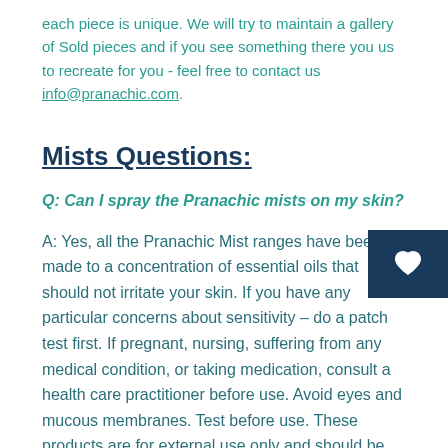each piece is unique. We will try to maintain a gallery of Sold pieces and if you see something there you us to recreate for you  - feel free to contact us info@pranachic.com.
Mists Questions:
Q: Can I spray the Pranachic mists on my skin?
A: Yes, all the Pranachic Mist ranges have been made to a concentration of essential oils that should not irritate your skin. If you have any particular concerns about sensitivity – do a patch test first. If pregnant, nursing, suffering from any medical condition, or taking medication, consult a health care practitioner before use. Avoid eyes and mucous membranes. Test before use. These products are for external use only and should be